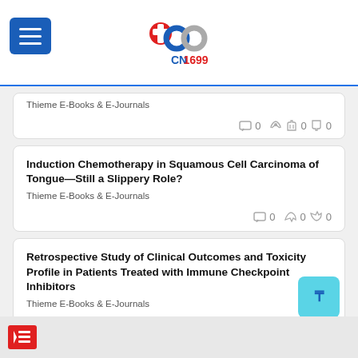CN1699
Thieme E-Books & E-Journals
0  0  0
Induction Chemotherapy in Squamous Cell Carcinoma of Tongue—Still a Slippery Role?
Thieme E-Books & E-Journals
0  0  0
Retrospective Study of Clinical Outcomes and Toxicity Profile in Patients Treated with Immune Checkpoint Inhibitors
Thieme E-Books & E-Journals